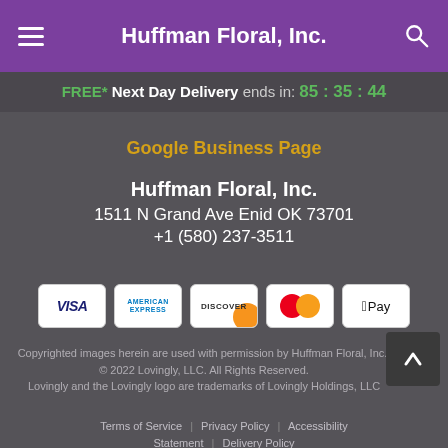Huffman Floral, Inc.
FREE* Next Day Delivery ends in: 85:35:44
Google Business Page
Huffman Floral, Inc.
1511 N Grand Ave Enid OK 73701
+1 (580) 237-3511
[Figure (other): Payment method icons: VISA, American Express, Discover, Mastercard, Apple Pay]
Copyrighted images herein are used with permission by Huffman Floral, Inc..
© 2022 Lovingly, LLC. All Rights Reserved.
Lovingly and the Lovingly logo are trademarks of Lovingly Holdings, LLC
Terms of Service | Privacy Policy | Accessibility Statement | Delivery Policy